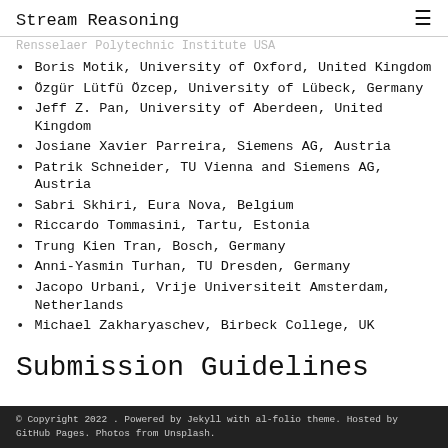Stream Reasoning
Rensselaer Polytechnic Institute USA
Boris Motik, University of Oxford, United Kingdom
Özgür Lütfü Özcep, University of Lübeck, Germany
Jeff Z. Pan, University of Aberdeen, United Kingdom
Josiane Xavier Parreira, Siemens AG, Austria
Patrik Schneider, TU Vienna and Siemens AG, Austria
Sabri Skhiri, Eura Nova, Belgium
Riccardo Tommasini, Tartu, Estonia
Trung Kien Tran, Bosch, Germany
Anni-Yasmin Turhan, TU Dresden, Germany
Jacopo Urbani, Vrije Universiteit Amsterdam, Netherlands
Michael Zakharyaschev, Birbeck College, UK
Submission Guidelines
© Copyright 2022 . Powered by Jekyll with al-folio theme. Hosted by GitHub Pages. Photos from Unsplash.